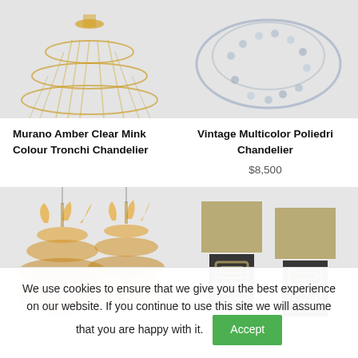[Figure (photo): Gold/amber crystal Tronchi chandelier on light grey background, cropped at top]
[Figure (photo): Multicolor Poliedri chandelier on light grey background, cropped at top]
Murano Amber Clear Mink Colour Tronchi Chandelier
Vintage Multicolor Poliedri Chandelier
$8,500
[Figure (photo): Two golden leaf/petal chandeliers on light grey background]
[Figure (photo): Two decorative table lamps with tan shades and dark ornate bases on light grey background]
We use cookies to ensure that we give you the best experience on our website. If you continue to use this site we will assume that you are happy with it.